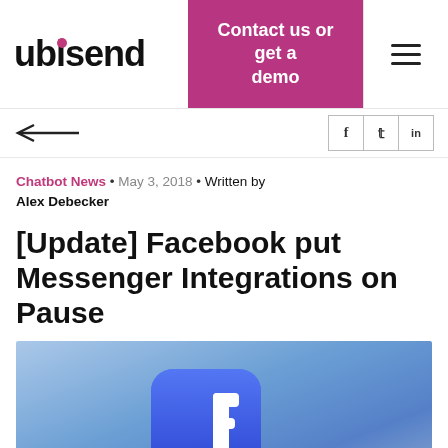ubisend | Contact us or get a demo
Chatbot News • May 3, 2018 • Written by Alex Debecker
[Update] Facebook put Messenger Integrations on Pause
[Figure (photo): Facebook app icon (rounded square with white 'f' logo on blue background) on a light blue background, with 'Facebook' text visible at the bottom right]